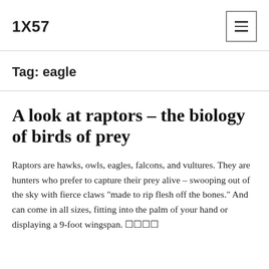1X57
Tag: eagle
A look at raptors – the biology of birds of prey
Raptors are hawks, owls, eagles, falcons, and vultures. They are hunters who prefer to capture their prey alive – swooping out of the sky with fierce claws “made to rip flesh off the bones.” And can come in all sizes, fitting into the palm of your hand or displaying a 9-foot wingspan. ☐☐☐☐